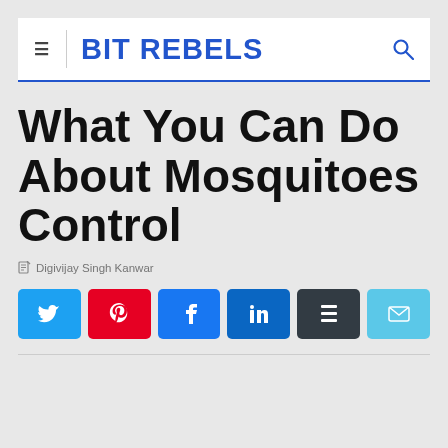BIT REBELS
What You Can Do About Mosquitoes Control
Digivijay Singh Kanwar
[Figure (other): Social share buttons: Twitter, Pinterest, Facebook, LinkedIn, Buffer, Email]